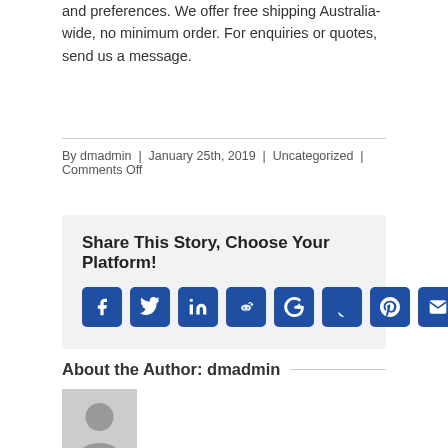and preferences. We offer free shipping Australia-wide, no minimum order. For enquiries or quotes, send us a message.
By dmadmin | January 25th, 2019 | Uncategorized | Comments Off
Share This Story, Choose Your Platform!
[Figure (infographic): Social sharing icons: Facebook, Twitter, LinkedIn, Reddit, Google+, Tumblr, Pinterest, Email]
About the Author: dmadmin
[Figure (photo): Default user avatar placeholder image]